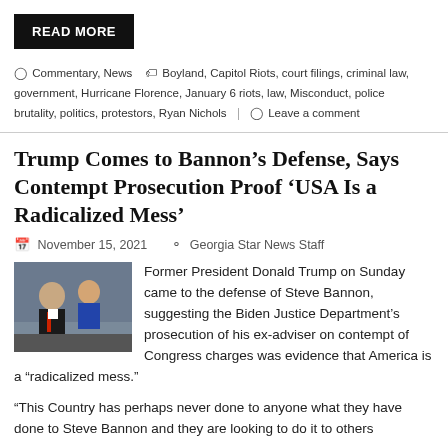READ MORE
Commentary, News   Boyland, Capitol Riots, court filings, criminal law, government, Hurricane Florence, January 6 riots, law, Misconduct, police brutality, politics, protestors, Ryan Nichols   Leave a comment
Trump Comes to Bannon’s Defense, Says Contempt Prosecution Proof ‘USA Is a Radicalized Mess’
November 15, 2021   Georgia Star News Staff
[Figure (photo): Two men standing outdoors, one in the foreground and one in the background]
Former President Donald Trump on Sunday came to the defense of Steve Bannon, suggesting the Biden Justice Department’s prosecution of his ex-adviser on contempt of Congress charges was evidence that America is a “radicalized mess.”
“This Country has perhaps never done to anyone what they have done to Steve Bannon and they are looking to do it to others